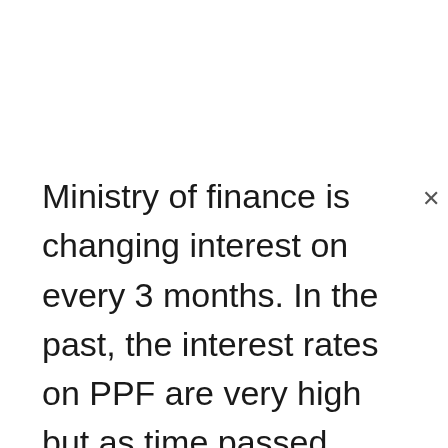Ministry of finance is changing interest on every 3 months. In the past, the interest rates on PPF are very high but as time passed these interest rates are decreased, even though these are the best investing parts, From 2018 the interest rate is 7.6%, the maturity money will have 100% tax exemption, the lockin period is for 15 years, under 80c